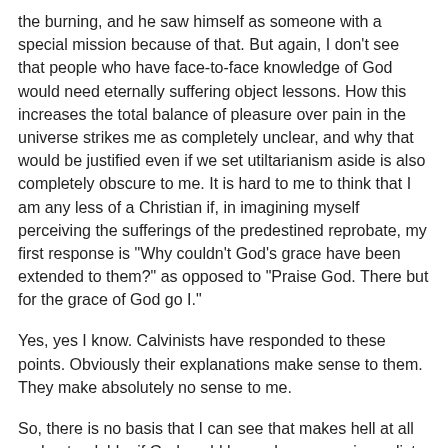the burning, and he saw himself as someone with a special mission because of that. But again, I don't see that people who have face-to-face knowledge of God would need eternally suffering object lessons. How this increases the total balance of pleasure over pain in the universe strikes me as completely unclear, and why that would be justified even if we set utiltarianism aside is also completely obscure to me. It is hard to me to think that I am any less of a Christian if, in imagining myself perceiving the sufferings of the predestined reprobate, my first response is "Why couldn't God's grace have been extended to them?" as opposed to "Praise God. There but for the grace of God go I."
Yes, yes I know. Calvinists have responded to these points. Obviously their explanations make sense to them. They make absolutely no sense to me.
So, there is no basis that I can see that makes hell at all understandable, if God could have chosen a universalist world, but didn't.
A final response I have heard is the fact that God could have